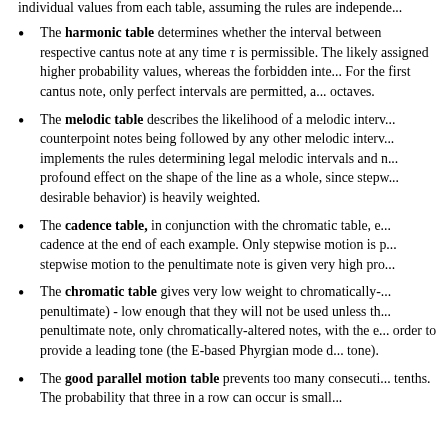individual values from each table, assuming the rules are independe...
The harmonic table determines whether the interval between ... respective cantus note at any time τ is permissible. The likely ... assigned higher probability values, whereas the forbidden inte... For the first cantus note, only perfect intervals are permitted, a... octaves.
The melodic table describes the likelihood of a melodic interv... counterpoint notes being followed by any other melodic interv... implements the rules determining legal melodic intervals and ... profound effect on the shape of the line as a whole, since stepw... desirable behavior) is heavily weighted.
The cadence table, in conjunction with the chromatic table, e... cadence at the end of each example. Only stepwise motion is p... stepwise motion to the penultimate note is given very high pro...
The chromatic table gives very low weight to chromatically-... penultimate) - low enough that they will not be used unless th... penultimate note, only chromatically-altered notes, with the e... order to provide a leading tone (the E-based Phyrgian mode d... tone).
The good parallel motion table prevents too many consecuti... tenths. The probability that three in a row can occur is small...